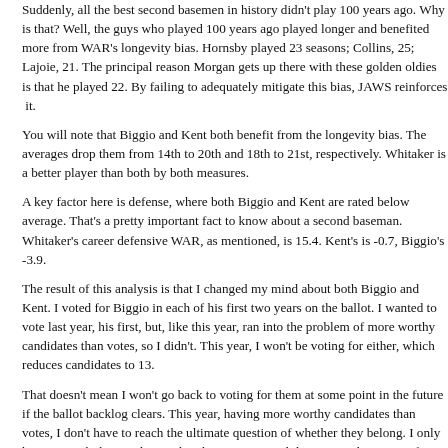Suddenly, all the best second basemen in history didn't play 100 years ago. Why is that? Well, the guys who played 100 years ago played longer and benefited more from WAR's longevity bias. Hornsby played 23 seasons; Collins, 25; Lajoie, 21. The principal reason Morgan gets up there with these golden oldies is that he played 22. By failing to adequately mitigate this bias, JAWS reinforces it.
You will note that Biggio and Kent both benefit from the longevity bias. The peak averages drop them from 14th to 20th and 18th to 21st, respectively. Whitaker is a better player than both by both measures.
A key factor here is defense, where both Biggio and Kent are rated below average. That's a pretty important fact to know about a second baseman. Whitaker's career defensive WAR, as mentioned, is 15.4. Kent's is -0.7, Biggio's -3.9.
The result of this analysis is that I changed my mind about both Biggio and Kent. I voted for Biggio in each of his first two years on the ballot. I wanted to vote for Kent last year, his first, but, like this year, ran into the problem of more worthy candidates than votes, so I didn't. This year, I won't be voting for either, which reduces my candidates to 13.
That doesn't mean I won't go back to voting for them at some point in the future if the ballot backlog clears. This year, having more worthy candidates than votes, I don't have to reach the ultimate question of whether they belong. I only have to reach the conclusion that there are 10 candidates more deserving of my votes.
Anomaly No. 2: John Smoltz.